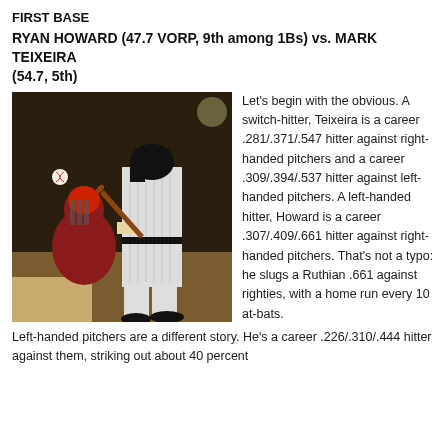FIRST BASE
RYAN HOWARD (47.7 VORP, 9th among 1Bs) vs. MARK TEIXEIRA (54.7, 5th)
[Figure (photo): Baseball player in Yankees pinstripe uniform swinging bat at home plate, with catcher in red uniform crouching behind.]
Let's begin with the obvious. A switch-hitter, Teixeira is a career .281/.371/.547 hitter against right-handed pitchers and a career .309/.394/.537 hitter against left-handed pitchers. A left-handed hitter, Howard is a career .307/.409/.661 hitter against right-handed pitchers. That's not a typo: he slugs a Ruthian .661 against righties, with a home run every 10 at-bats. Left-handed pitchers are a different story. He's a career .226/.310/.444 hitter against them, striking out about 40 percent